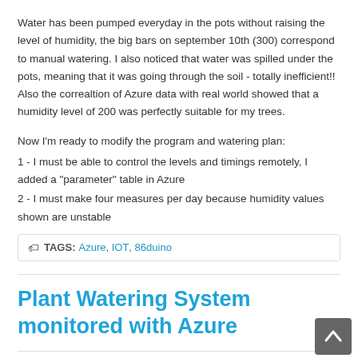Water has been pumped everyday in the pots without raising the level of humidity, the big bars on september 10th (300) correspond to manual watering. I also noticed that water was spilled under the pots, meaning that it was going through the soil - totally inefficient!! Also the correaltion of Azure data with real world showed that a humidity level of 200 was perfectly suitable for my trees.
Now I'm ready to modify the program and watering plan:
1 - I must be able to control the levels and timings remotely, I added a "parameter" table in Azure
2 - I must make four measures per day because humidity values shown are unstable
TAGS: Azure, IOT, 86duino
Plant Watering System monitored with Azure
Before my summer vacations, I decided to build a watering system for my decorative trees. The soil moisture is measured with a cheap